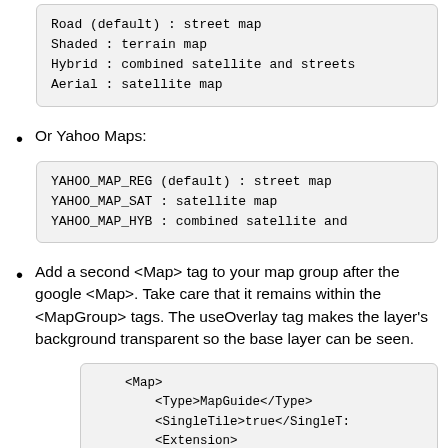Road (default) : street map
Shaded : terrain map
Hybrid : combined satellite and streets
Aerial : satellite map
Or Yahoo Maps:
YAHOO_MAP_REG (default) : street map
YAHOO_MAP_SAT : satellite map
YAHOO_MAP_HYB : combined satellite and
Add a second <Map> tag to your map group after the google <Map>. Take care that it remains within the <MapGroup> tags. The useOverlay tag makes the layer's background transparent so the base layer can be seen.
<Map>
    <Type>MapGuide</Type>
    <SingleTile>true</SingleT:
    <Extension>
        <Options>
            <isBaseLayer>fa